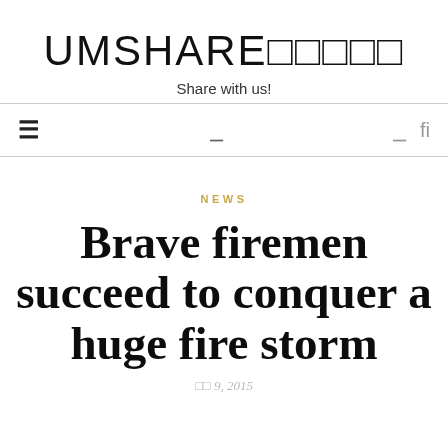UMSHARE□□□□□
Share with us!
NEWS
Brave firemen succeed to conquer a huge fire storm
□□ 9, 2015